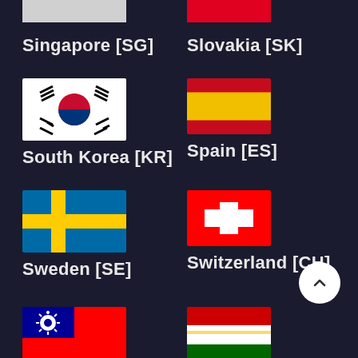[Figure (illustration): Partial Singapore flag (cropped at top)]
[Figure (illustration): Partial Slovakia flag (cropped at top, red)]
Singapore [SG]
Slovakia [SK]
[Figure (illustration): South Korea flag with Taegukgi symbol]
[Figure (illustration): Spain flag with red and yellow horizontal stripes]
South Korea [KR]
Spain [ES]
[Figure (illustration): Sweden flag with blue background and yellow cross]
[Figure (illustration): Switzerland flag with red background and white cross]
Sweden [SE]
Switzerland [CH]
[Figure (illustration): Taiwan flag with red background and blue canton with star]
[Figure (illustration): Tajikistan flag with red, white, green stripes]
Taiwan [TW]
Tajikistan [TJ]